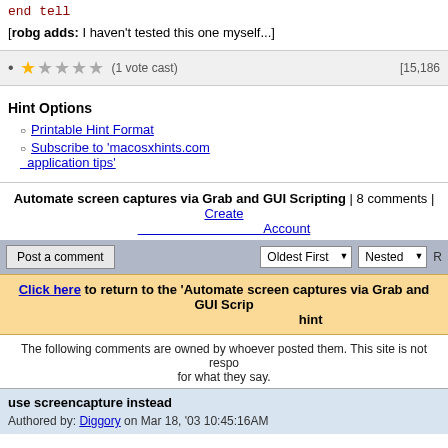end tell
[robg adds: I haven't tested this one myself...]
• (1 vote cast) [15,186
Hint Options
Printable Hint Format
Subscribe to 'macosxhints.com application tips'
Automate screen captures via Grab and GUI Scripting | 8 comments | Create Account
Post a comment   Oldest First ▼   Nested ▼   R
Click here to return to the 'Automate screen captures via Grab and GUI Scrip hint
The following comments are owned by whoever posted them. This site is not respo for what they say.
use screencapture instead
Authored by: Diggory on Mar 18, '03 10:45:16AM